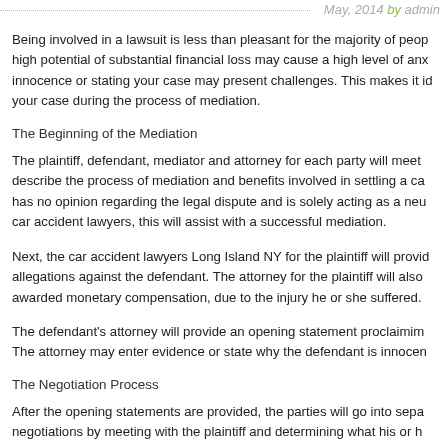May, 2014 by admin
Being involved in a lawsuit is less than pleasant for the majority of people. The high potential of substantial financial loss may cause a high level of anxiety. Proving innocence or stating your case may present challenges. This makes it ideal to present your case during the process of mediation.
The Beginning of the Mediation
The plaintiff, defendant, mediator and attorney for each party will meet. The mediator will describe the process of mediation and benefits involved in settling a case. The mediator has no opinion regarding the legal dispute and is solely acting as a neutral party. For car accident lawyers, this will assist with a successful mediation.
Next, the car accident lawyers Long Island NY for the plaintiff will provide a summary of allegations against the defendant. The attorney for the plaintiff will also state the amount awarded monetary compensation, due to the injury he or she suffered.
The defendant's attorney will provide an opening statement proclaiming the defendant's case. The attorney may enter evidence or state why the defendant is innocent.
The Negotiation Process
After the opening statements are provided, the parties will go into separate rooms. The mediator begins negotiations by meeting with the plaintiff and determining what his or her demands are. The plaintiff is the alleged injured party who initiated the lawsuit and seeking compensation.